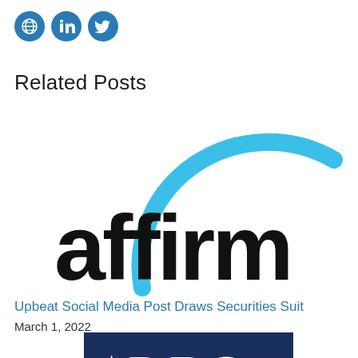[Figure (other): Social media icons: globe, LinkedIn, Twitter in blue circles]
Related Posts
[Figure (logo): Affirm logo: bold black lowercase 'affirm' text with a blue arc/rainbow above, on white background]
Upbeat Social Media Post Draws Securities Suit
March 1, 2022
[Figure (logo): DBS bank logo: dark navy blue background with white DBS text and stylized spark/asterisk icon on the left, partially visible]